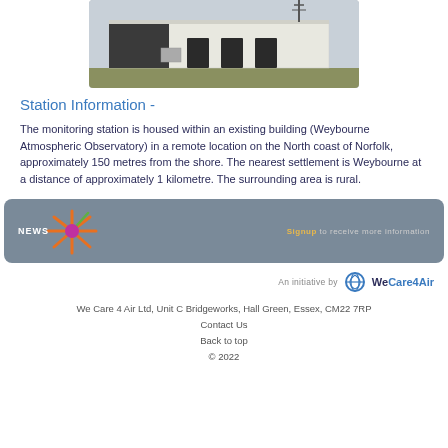[Figure (photo): Photograph of a white monitoring station building (Weybourne Atmospheric Observatory) in a remote location]
Station Information -
The monitoring station is housed within an existing building (Weybourne Atmospheric Observatory) in a remote location on the North coast of Norfolk, approximately 150 metres from the shore. The nearest settlement is Weybourne at a distance of approximately 1 kilometre. The surrounding area is rural.
[Figure (logo): WeCare4Air news bar with logo and signup link]
[Figure (logo): An initiative by WeCare4Air logo]
We Care 4 Air Ltd, Unit C Bridgeworks, Hall Green, Essex, CM22 7RP
Contact Us
Back to top
© 2022